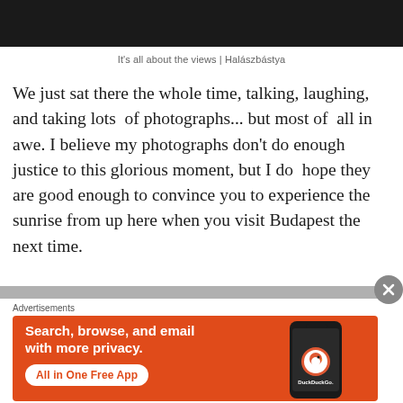[Figure (photo): Dark photograph at top of page, partially visible]
It's all about the views | Halászbástya
We just sat there the whole time, talking, laughing, and taking lots of photographs... but most of all in awe. I believe my photographs don't do enough justice to this glorious moment, but I do hope they are good enough to convince you to experience the sunrise from up here when you visit Budapest the next time.
[Figure (screenshot): DuckDuckGo advertisement: Search, browse, and email with more privacy. All in One Free App. Shows DuckDuckGo logo on a phone.]